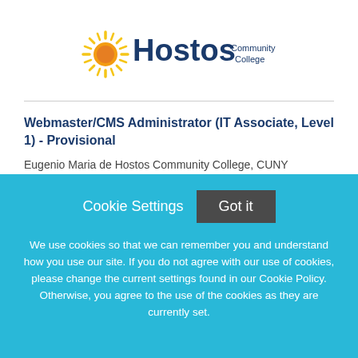[Figure (logo): Hostos Community College logo with sun/starburst icon and text 'Hostos Community College']
Webmaster/CMS Administrator (IT Associate, Level 1) - Provisional
Eugenio Maria de Hostos Community College, CUNY
Bronx, NY, 10460, USA
Cookie Settings   Got it
We use cookies so that we can remember you and understand how you use our site. If you do not agree with our use of cookies, please change the current settings found in our Cookie Policy. Otherwise, you agree to the use of the cookies as they are currently set.